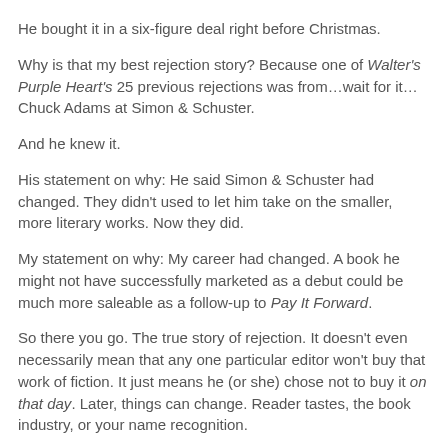He bought it in a six-figure deal right before Christmas.
Why is that my best rejection story? Because one of Walter's Purple Heart's 25 previous rejections was from…wait for it…Chuck Adams at Simon & Schuster.
And he knew it.
His statement on why: He said Simon & Schuster had changed. They didn't used to let him take on the smaller, more literary works. Now they did.
My statement on why: My career had changed. A book he might not have successfully marketed as a debut could be much more saleable as a follow-up to Pay It Forward.
So there you go. The true story of rejection. It doesn't even necessarily mean that any one particular editor won't buy that work of fiction. It just means he (or she) chose not to buy it on that day. Later, things can change. Reader tastes, the book industry, or your name recognition.